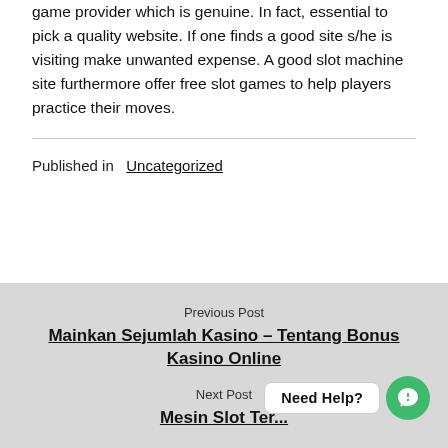game provider which is genuine. In fact, essential to pick a quality website. If one finds a good site s/he is visiting make unwanted expense. A good slot machine site furthermore offer free slot games to help players practice their moves.
Published in   Uncategorized
Previous Post
Mainkan Sejumlah Kasino – Tentang Bonus Kasino Online
Next Post
Mesin Slot Ter...
[Figure (other): Need Help? chat widget with green circular icon]